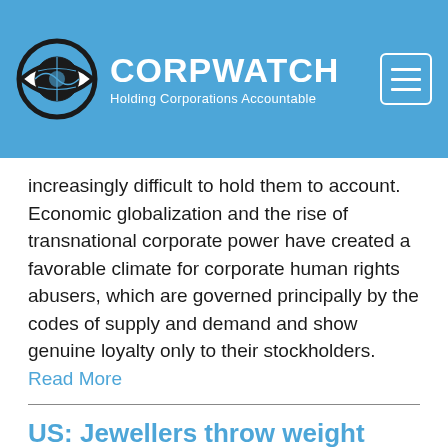CORPWATCH — Holding Corporations Accountable
increasingly difficult to hold them to account. Economic globalization and the rise of transnational corporate power have created a favorable climate for corporate human rights abusers, which are governed principally by the codes of supply and demand and show genuine loyalty only to their stockholders. Read More
US: Jewellers throw weight behind mining bill protest
Published by The Financial Times | By Ben Bain | Thursday, November 17, 2005